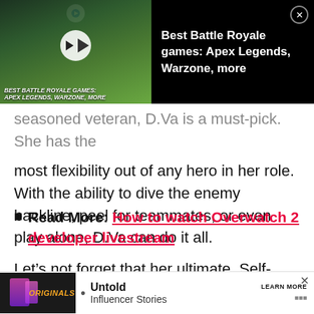[Figure (screenshot): Video ad banner for 'Best Battle Royale Games: Apex Legends, Warzone, More' showing game characters on black background with play button thumbnail on left and text on right with close button]
seasoned veteran, D.Va is a must-pick. She has the most flexibility out of any hero in her role. With the ability to dive the enemy backline, peel for teammates, or even play alone, D.Va can do it all.
Read More: How to watch Overwatch 2 developer livestream
Let’s not forget that her ultimate, Self-Destruct, has the ability to swing the momentum of a game with the press of a button. She has one of the highest skill ceilings in the game, but even if you’re not as good at first, y
[Figure (screenshot): Bottom advertisement banner for Originals 'Untold Influencer Stories' with LEARN MORE button]